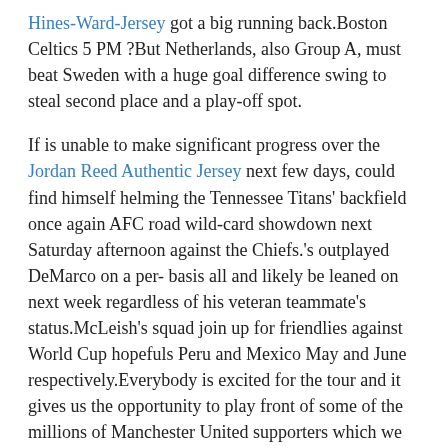Hines-Ward-Jersey got a big running back.Boston Celtics 5 PM ?But Netherlands, also Group A, must beat Sweden with a huge goal difference swing to steal second place and a play-off spot.
If is unable to make significant progress over the Jordan Reed Authentic Jersey next few days, could find himself helming the Tennessee Titans' backfield once again AFC road wild-card showdown next Saturday afternoon against the Chiefs.'s outplayed DeMarco on a per- basis all and likely be leaned on next week regardless of his veteran teammate's status.McLeish's squad join up for friendlies against World Cup hopefuls Peru and Mexico May and June respectively.Everybody is excited for the tour and it gives us the opportunity to play front of some of the millions of Manchester United supporters which we have across the USA, said Woodward.Davy Propper, a surprise inclusion place of playmaker Sneijder, scored his first international goal after seven minutes a bright start for the hosts, who